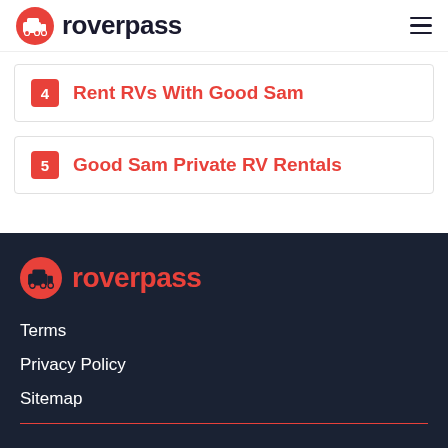roverpass
4 Rent RVs With Good Sam
5 Good Sam Private RV Rentals
roverpass
Terms
Privacy Policy
Sitemap